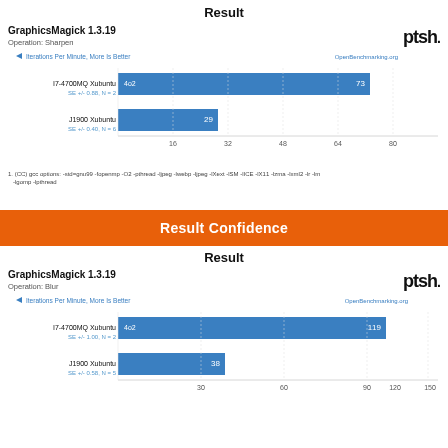Result
[Figure (bar-chart): GraphicsMagick 1.3.19 - Operation: Sharpen]
1. (CC) gcc options: -std=gnu99 -fopenmp -O2 -pthread -ljpeg -lwebp -ljpeg -lXext -lSM -lICE -lX11 -lzma -lxml2 -lr -lm -lgomp -lpthread
Result Confidence
Result
[Figure (bar-chart): GraphicsMagick 1.3.19 - Operation: Blur]